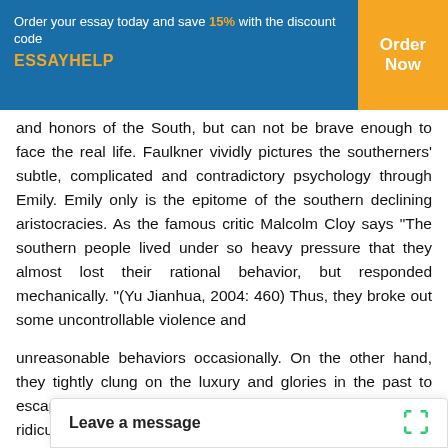Order your essay today and save 15% with the discount code ESSAYHELP | Order Now
and honors of the South, but can not be brave enough to face the real life. Faulkner vividly pictures the southerners' subtle, complicated and contradictory psychology through Emily. Emily only is the epitome of the southern declining aristocracies. As the famous critic Malcolm Cloy says “The southern people lived under so heavy pressure that they almost lost their rational behavior, but responded mechanically.”(Yu Jianhua, 2004: 460) Thus, they broke out some uncontrollable violence and
unreasonable behaviors occasionally. On the other hand, they tightly clung on the luxury and glories in the past to escape the reality, which seems extremely unrealistic and ridiculous. In this way, Faulkner criticizes the southerners who live in a new time but keep outdated mind. And this distorted psychology is exactly the spiritual essence of the collapsing old south. Standing on a new angle, Faulkner re-examines closely and explains all of these, and way and moral standard.